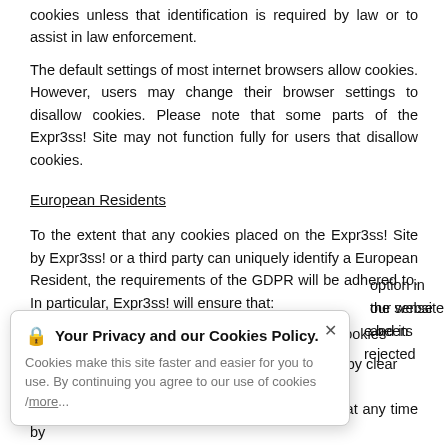cookies unless that identification is required by law or to assist in law enforcement.
The default settings of most internet browsers allow cookies. However, users may change their browser settings to disallow cookies. Please note that some parts of the Expr3ss! Site may not function fully for users that disallow cookies.
European Residents
To the extent that any cookies placed on the Expr3ss! Site by Expr3ss! or a third party can uniquely identify a European Resident, the requirements of the GDPR will be adhered to. In particular, Expr3ss! will ensure that:
consent is obtained prior to the setting of the cookies
consent to the use of cookies can be provided by clear affirmative,
[Figure (screenshot): Cookie consent popup overlay with lock icon, title 'Your Privacy and our Cookies Policy.', body text 'Cookies make this site faster and easier for you to use. By continuing you agree to our use of cookies /more...' and a close (x) button]
option in the sense our website and its e been rejected
European Residents can withdraw their consent at any time by